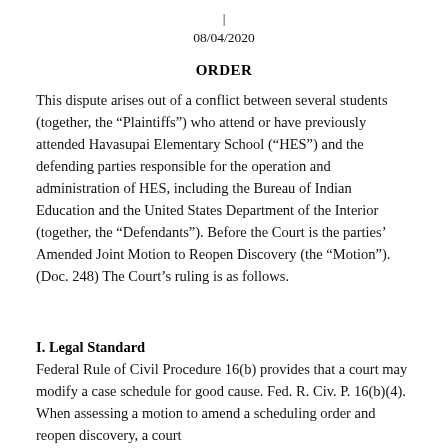| 08/04/2020
ORDER
This dispute arises out of a conflict between several students (together, the “Plaintiffs”) who attend or have previously attended Havasupai Elementary School (“HES”) and the defending parties responsible for the operation and administration of HES, including the Bureau of Indian Education and the United States Department of the Interior (together, the “Defendants”). Before the Court is the parties’ Amended Joint Motion to Reopen Discovery (the “Motion”). (Doc. 248) The Court’s ruling is as follows.
I. Legal Standard
Federal Rule of Civil Procedure 16(b) provides that a court may modify a case schedule for good cause. Fed. R. Civ. P. 16(b)(4). When assessing a motion to amend a scheduling order and reopen discovery, a court